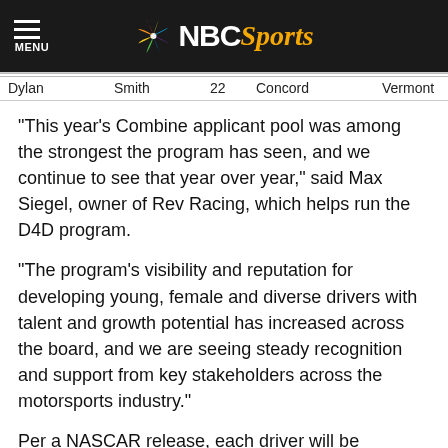NBC Sports — MENU
| First | Last | Age | City | State |
| --- | --- | --- | --- | --- |
| Dylan | Smith | 22 | Concord | Vermont |
“This year’s Combine applicant pool was among the strongest the program has seen, and we continue to see that year over year,” said Max Siegel, owner of Rev Racing, which helps run the D4D program.
“The program’s visibility and reputation for developing young, female and diverse drivers with talent and growth potential has increased across the board, and we are seeing steady recognition and support from key stakeholders across the motorsports industry.”
Per a NASCAR release, each driver will be evaluated on at-track performance including: Positioning at different places on the track, proficiency in providing in-car feedback to the crew chief, overall speed, and the ability to shift during assessments.